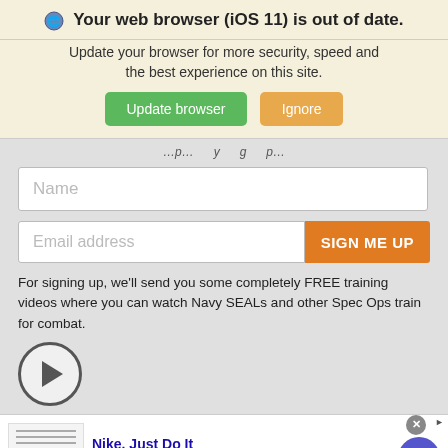Your web browser (iOS 11) is out of date.
Update your browser for more security, speed and the best experience on this site.
Update browser   Ignore
Name
Email address   SIGN ME UP
For signing up, we'll send you some completely FREE training videos where you can watch Navy SEALs and other Spec Ops train for combat.
[Figure (other): Circular play button icon]
Nike. Just Do It
Inspiring the world's athletes, Nike delivers the deals
www.nike.com